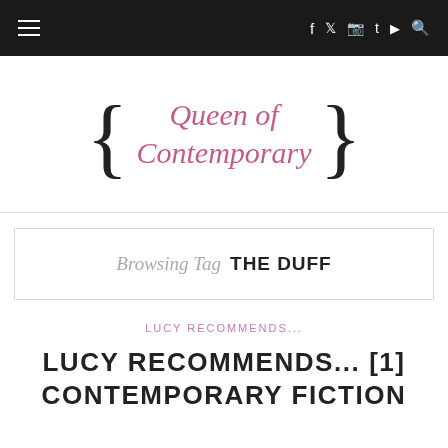≡  f  Twitter  Instagram  Tumblr  YouTube  Search
[Figure (logo): Queen of Contemporary blog logo with curly braces and cursive pink/black text]
Browsing Tag THE DUFF
LUCY RECOMMENDS...
LUCY RECOMMENDS... [1] CONTEMPORARY FICTION